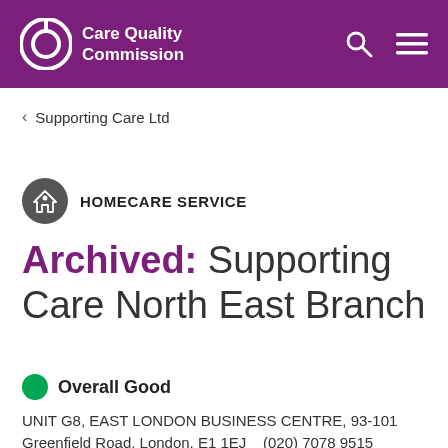Care Quality Commission
< Supporting Care Ltd
HOMECARE SERVICE
Archived: Supporting Care North East Branch
Overall Good
UNIT G8, EAST LONDON BUSINESS CENTRE, 93-101 Greenfield Road, London, E1 1EJ   (020) 7078 9515